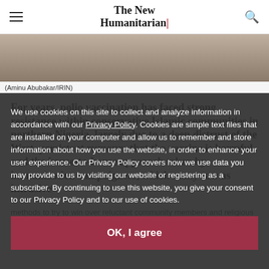The New Humanitarian
[Figure (photo): Close-up photo of a vaccination being administered, partially visible at top of page]
(Aminu Abubakar/IRIN)
For years, polio vaccination has faced strong resistance within conservative Islamic communities in northern Nigeria, largely due to a deep distrust of the West, persistent rumours that the vaccine is harmful, and the house-to-house approach taken by immunization campaigners, which many saw as intrusive
We use cookies on this site to collect and analyze information in accordance with our Privacy Policy. Cookies are simple text files that are installed on your computer and allow us to remember and store information about how you use the website, in order to enhance your user experience. Our Privacy Policy covers how we use data you may provide to us by visiting our website or registering as a subscriber. By continuing to use this website, you give your consent to our Privacy Policy and to our use of cookies.
OK, I agree
methods to try to win over reluctant community members and religious leaders, to mixed effect. In February of the year 10